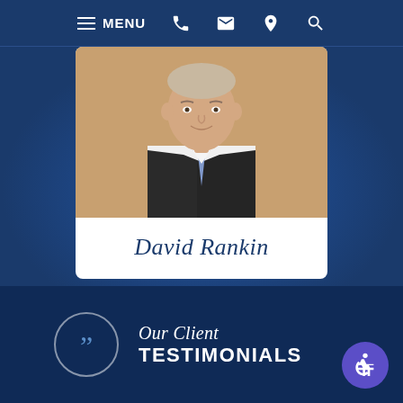MENU navigation bar with phone, email, location, and search icons
[Figure (photo): Professional headshot of David Rankin, a man in a dark suit with a light blue tie, photographed against a brick background]
David Rankin
VIEW PROFILE →
Our Client TESTIMONIALS
[Figure (illustration): Accessibility icon - wheelchair symbol in purple circle]